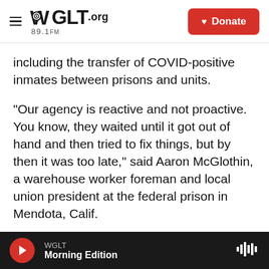WGLT.org 89.1FM | Donate
including the transfer of COVID-positive inmates between prisons and units.
"Our agency is reactive and not proactive. You know, they waited until it got out of hand and then tried to fix things, but by then it was too late," said Aaron McGlothin, a warehouse worker foreman and local union president at the federal prison in Mendota, Calif.
"I don't trust anything the Bureau of Prisons says," said Eric Speirs, a senior correctional officer and local union president at the federal detention
WGLT | Morning Edition